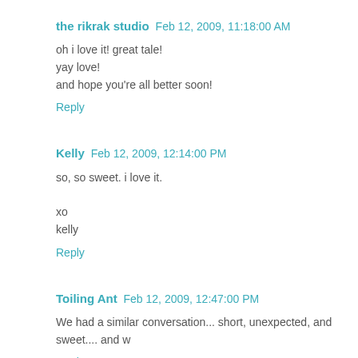the rikrak studio  Feb 12, 2009, 11:18:00 AM
oh i love it! great tale!
yay love!
and hope you’re all better soon!
Reply
Kelly  Feb 12, 2009, 12:14:00 PM
so, so sweet. i love it.

xo
kelly
Reply
Toiling Ant  Feb 12, 2009, 12:47:00 PM
We had a similar conversation... short, unexpected, and sweet.... and w
Reply
Rachel  Feb 12, 2009, 2:49:00 PM